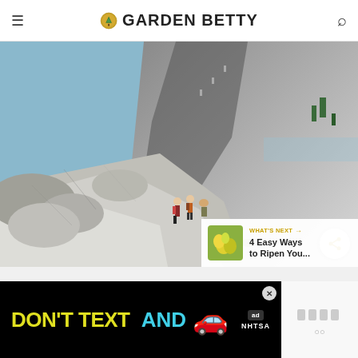GARDEN BETTY
[Figure (photo): Hikers on the granite sub-dome below Half Dome in Yosemite National Park, with dramatic granite cliffs and valley views in the background.]
WHAT'S NEXT → 4 Easy Ways to Ripen You...
[Figure (infographic): DON'T TEXT AND [car emoji] advertisement banner with NHTSA logo and close button.]